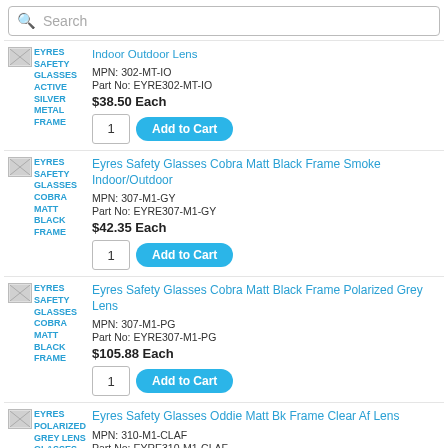Search
Eyres Safety Glasses Active Silver Metal Frame Indoor/Outdoor Lens | MPN: 302-MT-IO | Part No: EYRE302-MT-IO | $38.50 Each
Eyres Safety Glasses Cobra Matt Black Frame Smoke Indoor/Outdoor | MPN: 307-M1-GY | Part No: EYRE307-M1-GY | $42.35 Each
Eyres Safety Glasses Cobra Matt Black Frame Polarized Grey Lens | MPN: 307-M1-PG | Part No: EYRE307-M1-PG | $105.88 Each
Eyres Safety Glasses Oddie Matt Bk Frame Clear Af Lens | MPN: 310-M1-CLAF | Part No: EYRE310-M1-CLAF | $50.05 Each